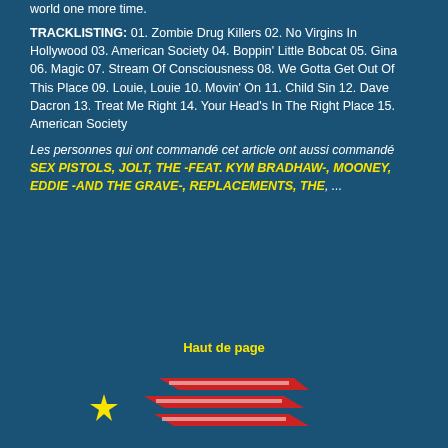world one more time.
TRACKLISTING: 01. Zombie Drug Killers 02. No Virgins In Hollywood 03. American Society 04. Boppin' Little Bobcat 05. Gina 06. Magic 07. Stream Of Consciousness 08. We Gotta Get Out Of This Place 09. Louie, Louie 10. Movin' On 11. Child Sin 12. Dave Dacron 13. Treat Me Right 14. Your Head's In The Right Place 15. American Society
Les personnes qui ont commandé cet article ont aussi commandé SEX PISTOLS, JOLT, THE -FEAT. KYM BRADHAW-, MOONEY, EDDIE -AND THE GRAVE-, REPLACEMENTS, THE, ...
Haut de page
[Figure (logo): Speedy record store logo with red lightning bolt shape and yellow star, above tagline 'Your favorite independent record dealer']